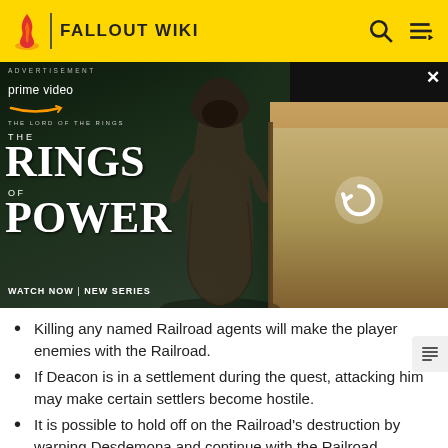FALLOUT WIKI
[Figure (photo): Advertisement for Amazon Prime Video 'The Lord of the Rings: The Rings of Power' showing armored character and other figures with 'Watch Now | New Series' text]
Killing any named Railroad agents will make the player enemies with the Railroad.
If Deacon is in a settlement during the quest, attacking him may make certain settlers become hostile.
It is possible to hold off on the Railroad's destruction by warning Desdemona and continue with the Railroad questline. One can then destroy the Railroad after completing Rockets' Red Glare should they